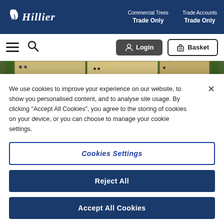Hillier — Commercial Trees Trade Only | Trade Accounts Trade Only
[Figure (screenshot): Website navigation bar with hamburger menu, search icon, Login and Basket buttons]
[Figure (photo): Partial image strip showing wooden panels with bee decorations and green foliage on sides]
We use cookies to improve your experience on our website, to show you personalised content, and to analyse site usage. By clicking "Accept All Cookies", you agree to the storing of cookies on your device, or you can choose to manage your cookie settings.
Cookies Settings
Reject All
Accept All Cookies